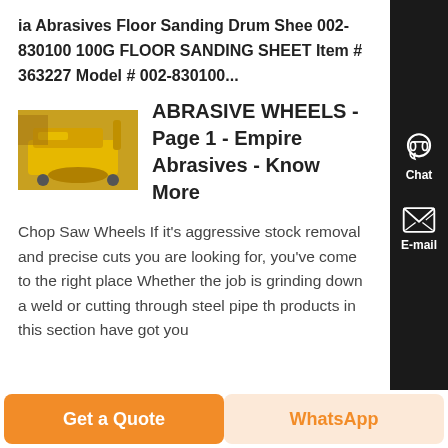ia Abrasives Floor Sanding Drum Sheet 002-830100 100G FLOOR SANDING SHEET Item # 363227 Model # 002-830100...
[Figure (photo): Yellow floor sanding machine/equipment photo thumbnail]
ABRASIVE WHEELS - Page 1 - Empire Abrasives - Know More
Chop Saw Wheels If it's aggressive stock removal and precise cuts you are looking for, you've come to the right place Whether the job is grinding down a weld or cutting through steel pipe th products in this section have got you
[Figure (other): Side panel with Chat headset icon and E-mail icon on dark background]
Get a Quote
WhatsApp